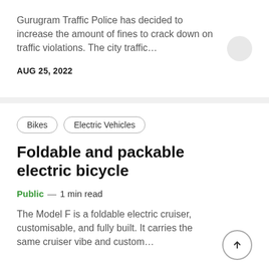Gurugram Traffic Police has decided to increase the amount of fines to crack down on traffic violations. The city traffic...
AUG 25, 2022
Bikes   Electric Vehicles
Foldable and packable electric bicycle
Public — 1 min read
The Model F is a foldable electric cruiser, customisable, and fully built. It carries the same cruiser vibe and custom...